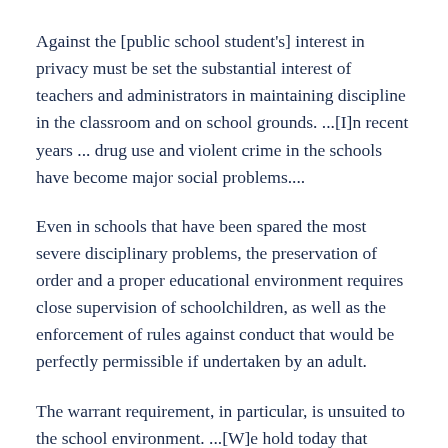Against the [public school student's] interest in privacy must be set the substantial interest of teachers and administrators in maintaining discipline in the classroom and on school grounds. ...[I]n recent years ... drug use and violent crime in the schools have become major social problems....
Even in schools that have been spared the most severe disciplinary problems, the preservation of order and a proper educational environment requires close supervision of schoolchildren, as well as the enforcement of rules against conduct that would be perfectly permissible if undertaken by an adult.
The warrant requirement, in particular, is unsuited to the school environment. ...[W]e hold today that school officials need not obtain a warrant before searching a student who is under their jurisdiction.